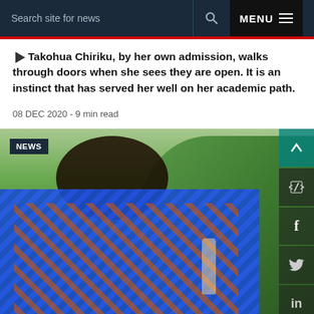Search site for news  MENU
Takohua Chiriku, by her own admission, walks through doors when she sees they are open. It is an instinct that has served her well on her academic path.
08 DEC 2020 - 9 min read
[Figure (photo): A smiling woman wearing a blue and orange African print garment and a dark head wrap, holding a glass of champagne, outdoors with green foliage in the background. A NEWS badge is visible in the top left corner. Social media share icons appear on the right side.]